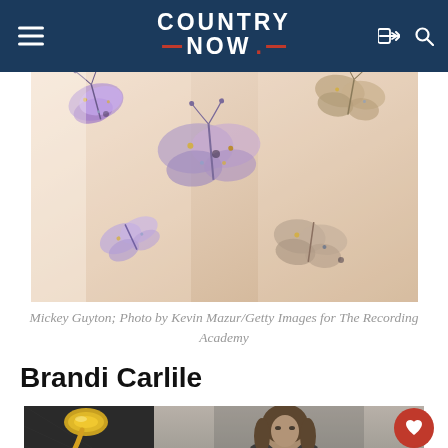Country Now
[Figure (photo): Close-up of Mickey Guyton wearing a sheer light pink gown with colorful embroidered and bejeweled butterfly appliques in purple, gold, and blue tones]
Mickey Guyton; Photo by Kevin Mazur/Getty Images for The Recording Academy
Brandi Carlile
[Figure (photo): Split image: left side shows a Grammy Award trophy against dark background; right side shows Brandi Carlile at a Grammy event wearing a dark outfit against a grey backdrop]